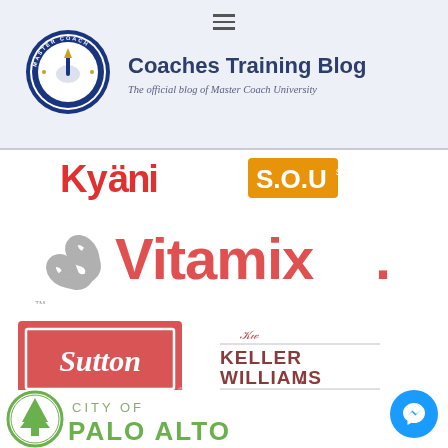Coaches Training Blog – The official blog of Master Coach University
[Figure (logo): Coaches Training Blog logo with circular badge and site title]
[Figure (logo): Partial logos row: Kyäni and SOU partially visible]
[Figure (logo): Vitamix logo with swirl icon and red wordmark]
[Figure (logo): Sutton Realty logo in red box and Keller Williams Realty logo]
[Figure (logo): City of Palo Alto logo with pine tree circle]